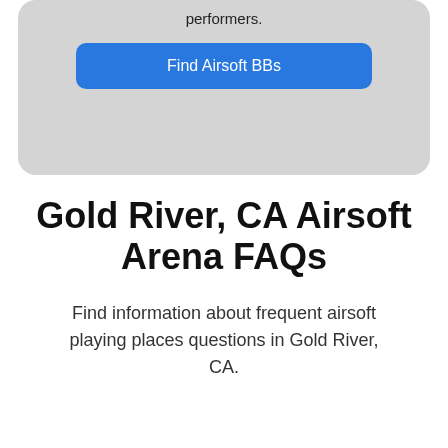performers.
Find Airsoft BBs
Gold River, CA Airsoft Arena FAQs
Find information about frequent airsoft playing places questions in Gold River, CA.